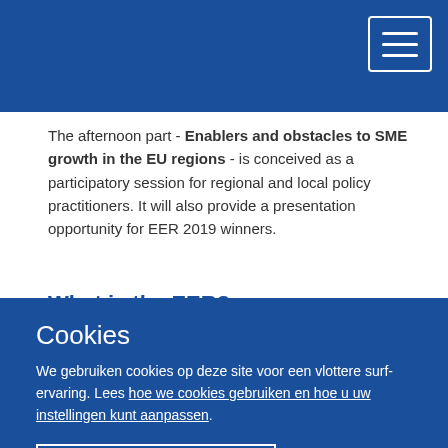[Figure (screenshot): Blue navigation bar with white hamburger menu button (three horizontal lines) in top right corner]
The afternoon part - Enablers and obstacles to SME growth in the EU regions - is conceived as a participatory session for regional and local policy practitioners. It will also provide a presentation opportunity for EER 2019 winners.
What is the EER?
The European Entrepreneurial Region (EER) Award is an initiative of the European Committee of the Regions identifi...
Cookies
We gebruiken cookies op deze site voor een vlottere surfervaring. Lees hoe we cookies gebruiken en hoe u uw instellingen kunt aanpassen.
Ja, ik accepteer cookies
Nee, ik accepteer geen cookies